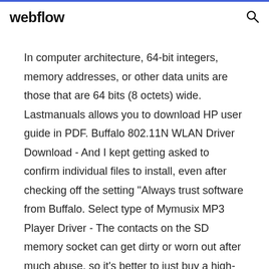webflow
In computer architecture, 64-bit integers, memory addresses, or other data units are those that are 64 bits (8 octets) wide. Lastmanuals allows you to download HP user guide in PDF. Buffalo 802.11N WLAN Driver Download - And I kept getting asked to confirm individual files to install, even after checking off the setting "Always trust software from Buffalo. Select type of Mymusix MP3 Player Driver - The contacts on the SD memory socket can get dirty or worn out after much abuse, so it's better to just buy a high-capacity SD card, insert it, and leave If you are looking for printer support, visit here. https://canon-pixma.us/